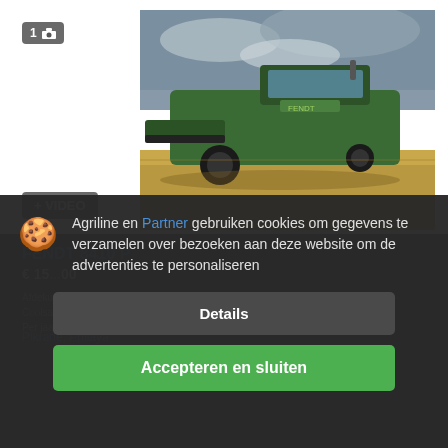[Figure (photo): Green Fendt combine harvester working in a wheat field under a cloudy sky]
1 [camera icon]
+ VIDEO
FENDT 8410 P
€ 15... 00
Afdekking... stokwagen
Coolsaet ... edition
Per jaar: 2027 ... 410 m/u
Pikrane, Philaya
Agriline en Partner gebruiken cookies om gegevens te verzamelen over bezoeken aan deze website om de advertenties te personaliseren
Details
Accepteren en sluiten